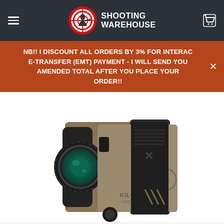Shooting Warehouse
NB!! I DISCOUNT ALL ORDERS BY 3% FOR INTERAC E-TRANSFER (EMT) PAYMENT - I WILL SEND YOU AMENDED TOTAL AFTER YOU PLACE YOUR ORDER!!
[Figure (photo): Close-up photo of a Sig Sauer KILO5K 7x25mm laser rangefinder in flat dark earth / tan finish with black rubber armor, showing the objective lens and body markings.]